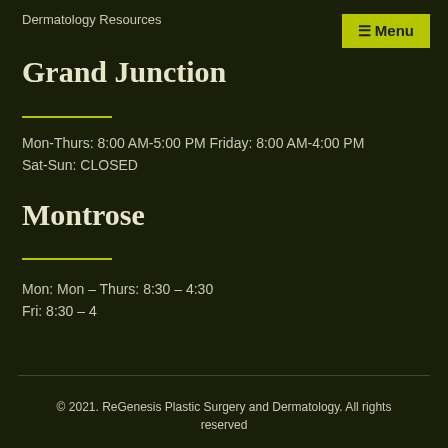Dermatology Resources
Grand Junction
Mon-Thurs: 8:00 AM-5:00 PM Friday: 8:00 AM-4:00 PM
Sat-Sun: CLOSED
Montrose
Mon: Mon – Thurs: 8:30 – 4:30
Fri: 8:30 – 4
© 2021. ReGenesis Plastic Surgery and Dermatology. All rights reserved